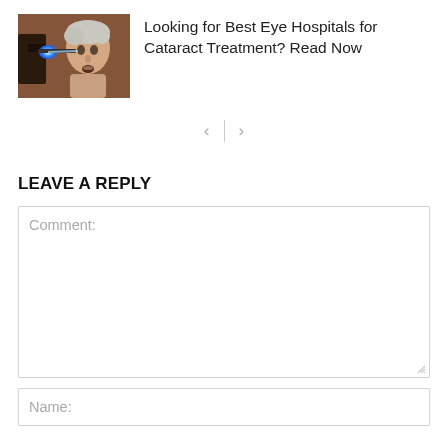[Figure (photo): Photo of an elderly person receiving an eye examination with medical equipment, warm brownish background]
Looking for Best Eye Hospitals for Cataract Treatment? Read Now
< | >
LEAVE A REPLY
Comment:
Name: